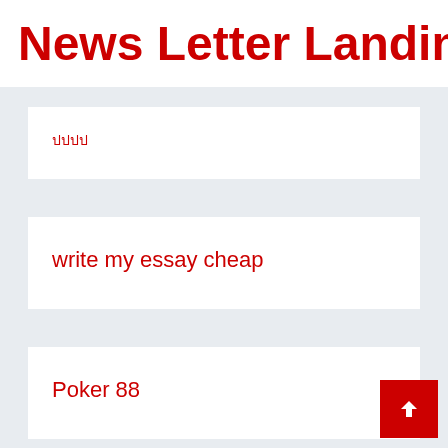News Letter Landing Pag
ปปปป
write my essay cheap
Poker 88
กกกกกกก